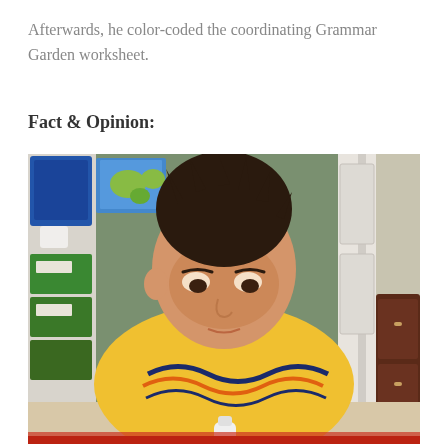Afterwards, he color-coded the coordinating Grammar Garden worksheet.
Fact & Opinion:
[Figure (photo): A young boy with spiky dark hair, wearing a yellow t-shirt with a colorful wave graphic, looking down and working on something at a table. In the background are blue and green storage bins, a map on the wall, a white door, and a dark wooden dresser.]